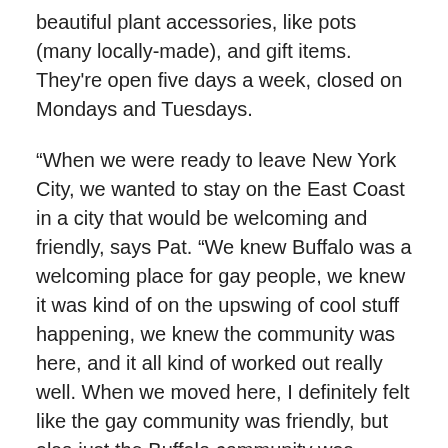beautiful plant accessories, like pots (many locally-made), and gift items. They're open five days a week, closed on Mondays and Tuesdays.
“When we were ready to leave New York City, we wanted to stay on the East Coast in a city that would be welcoming and friendly, says Pat. “We knew Buffalo was a welcoming place for gay people, we knew it was kind of on the upswing of cool stuff happening, we knew the community was here, and it all kind of worked out really well. When we moved here, I definitely felt like the gay community was friendly, but also just the Buffalo community was friendly – I never really felt awkward. You know, as a queer person you always tend to have your guard up a little bit, but I’ve always felt very safe.”
He adds, “We’ve had folks come in here, different